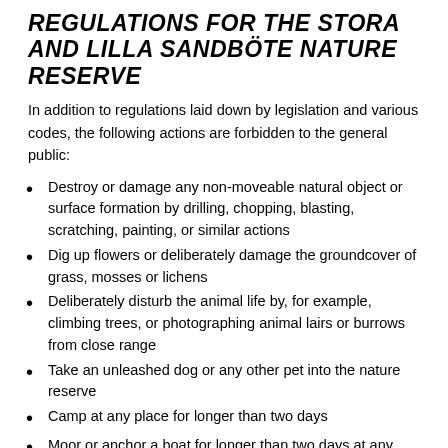REGULATIONS FOR THE STORA AND LILLA SANDBÖTE NATURE RESERVE
In addition to regulations laid down by legislation and various codes, the following actions are forbidden to the general public:
Destroy or damage any non-moveable natural object or surface formation by drilling, chopping, blasting, scratching, painting, or similar actions
Dig up flowers or deliberately damage the groundcover of grass, mosses or lichens
Deliberately disturb the animal life by, for example, climbing trees, or photographing animal lairs or burrows from close range
Take an unleashed dog or any other pet into the nature reserve
Camp at any place for longer than two days
Moor or anchor a boat for longer than two days at any location
Use a tape recorder, radio, or similar in a manner that